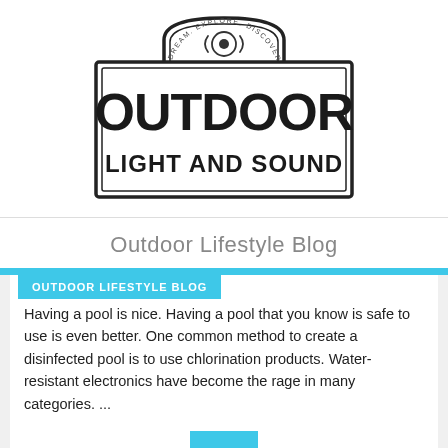[Figure (logo): Outdoor Light and Sound logo — vintage badge style with 'DREAM. EXPLORE. DISCOVER.' arc text and a sound wave/target graphic above bold text 'OUTDOOR LIGHT AND SOUND' inside a rectangular border frame]
Outdoor Lifestyle Blog
OUTDOOR LIFESTYLE BLOG
Having a pool is nice. Having a pool that you know is safe to use is even better. One common method to create a disinfected pool is to use chlorination products. Water-resistant electronics have become the rage in many categories. ...